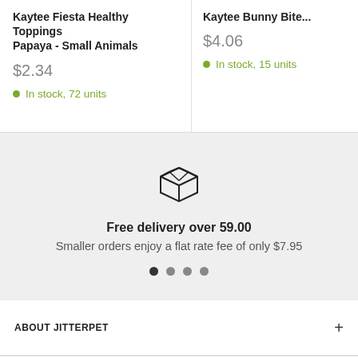Kaytee Fiesta Healthy Toppings Papaya - Small Animals
$2.34
In stock, 72 units
Kaytee Bunny Bite...
$4.06
In stock, 15 units
[Figure (illustration): Box/package icon representing delivery]
Free delivery over 59.00
Smaller orders enjoy a flat rate fee of only $7.95
ABOUT JITTERPET
ABOUT JITTERPET